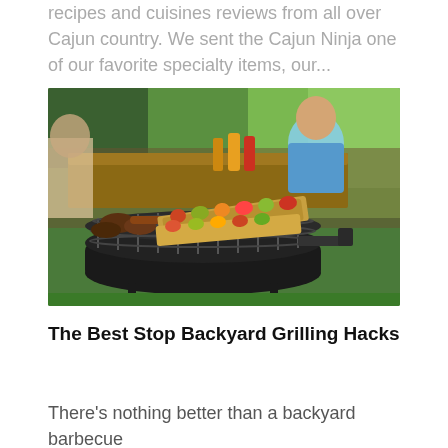recipes and cuisines reviews from all over Cajun country. We sent the Cajun Ninja one of our favorite specialty items, our...
[Figure (photo): Outdoor backyard barbecue scene with a round charcoal grill in the foreground loaded with meat skewers and burgers. People sitting at a picnic table with condiment bottles visible in the background, green grass and trees visible.]
The Best Stop Backyard Grilling Hacks
There's nothing better than a backyard barbecue